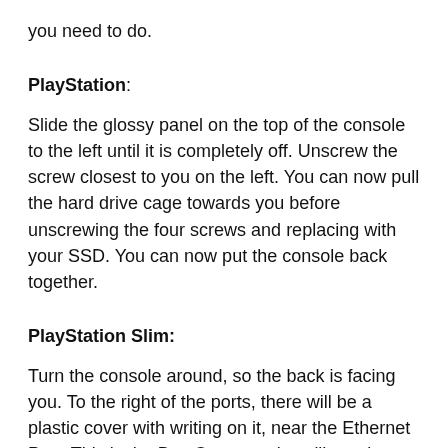you need to do.
PlayStation:
Slide the glossy panel on the top of the console to the left until it is completely off. Unscrew the screw closest to you on the left. You can now pull the hard drive cage towards you before unscrewing the four screws and replacing with your SSD. You can now put the console back together.
PlayStation Slim:
Turn the console around, so the back is facing you. To the right of the ports, there will be a plastic cover with writing on it, near the Ethernet Port. This is the Bay Cover, and you'll need to remove it by hand. Apply some pressure and slide it to the right until it comes off. Remove the single screw underneath and slide the hard drive cage out